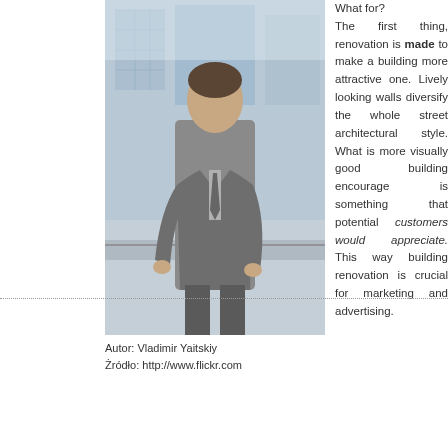[Figure (photo): Photo of a man in a grey suit standing outdoors in front of a modern glass building]
Autor: Vladimir Yaitskiy
Źródło: http://www.flickr.com
What for? The first thing, renovation is made to make a building more attractive one. Lively looking walls diversify the whole street architectural style. What is more visually good building encourage is something that potential customers would appreciate. This way building renovation is crucial for marketing and advertising.
This website uses cookies to improve your experience. We'll assume you're ok with this, but you can opt-out if you wish. Accept Read More